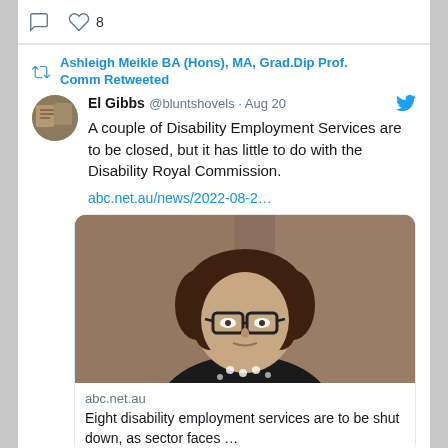[Figure (screenshot): Twitter/social media screenshot showing a retweet by Ashleigh Meikle BA (Hons), MA, Grad.Dip Prof. Comm of a tweet by El Gibbs @bluntshovels dated Aug 20, with tweet text about Disability Employment Services, a link to abc.net.au/news/2022-08-2..., and an embedded article card with a photo of a woman with glasses and curly hair, article source abc.net.au, and partial headline 'Eight disability employment services are to be shut down, as sector faces ...']